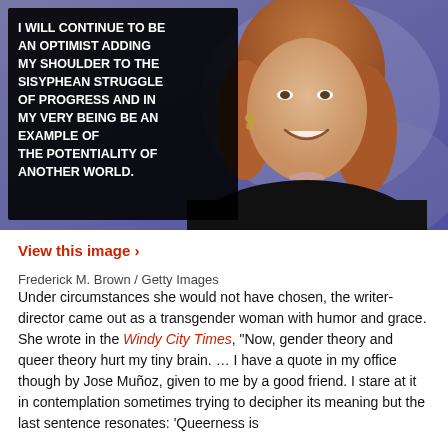[Figure (photo): A photograph of a transgender woman smiling, wearing a black outfit and earrings. On the left side of the image is a black overlay box containing a white bold uppercase quote: 'I WILL CONTINUE TO BE AN OPTIMIST ADDING MY SHOULDER TO THE SISYPHEAN STRUGGLE OF PROGRESS AND IN MY VERY BEING BE AN EXAMPLE OF THE POTENTIALITY OF ANOTHER WORLD.']
View this image ›
Frederick M. Brown / Getty Images
Under circumstances she would not have chosen, the writer-director came out as a transgender woman with humor and grace. She wrote in the Windy City Times, "Now, gender theory and queer theory hurt my tiny brain. ... I have a quote in my office though by Jose Muñoz, given to me by a good friend. I stare at it in contemplation sometimes trying to decipher its meaning but the last sentence resonates: 'Queerness is